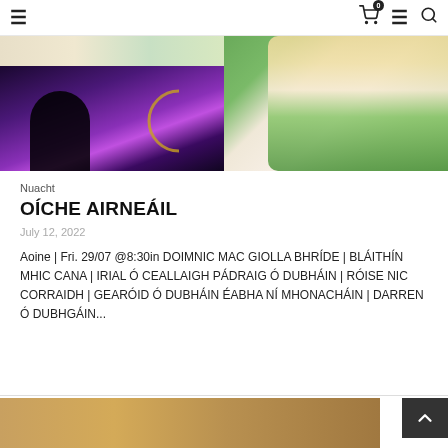Navigation bar with hamburger menu, cart (0), menu, and search icons
[Figure (photo): Two photos side by side: left shows a man performing on stage with purple/violet lighting and a crescent moon backdrop; right shows a smiling blonde woman outdoors with green foliage background]
Nuacht
OÍCHE AIRNEÁIL
July 12, 2022
Aoine | Fri. 29/07 @8:30in DOIMNIC MAC GIOLLA BHRÍDE | BLÁITHÍN MHIC CANA | IRIAL Ó CEALLAIGH PÁDRAIG Ó DUBHÁIN | RÓISE NIC CORRAIDH | GEARÓID Ó DUBHÁIN ÉABHA NÍ MHONACHÁIN | DARREN Ó DUBHGÁIN...
[Figure (photo): Partial view of another image at the bottom of the page (cropped)]